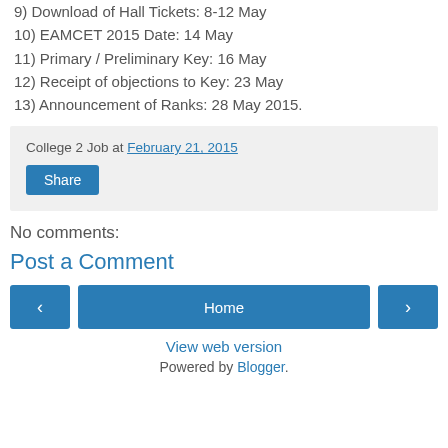9) Download of Hall Tickets: 8-12 May
10) EAMCET 2015 Date: 14 May
11) Primary / Preliminary Key: 16 May
12) Receipt of objections to Key: 23 May
13) Announcement of Ranks: 28 May 2015.
College 2 Job at February 21, 2015
Share
No comments:
Post a Comment
Home
View web version
Powered by Blogger.